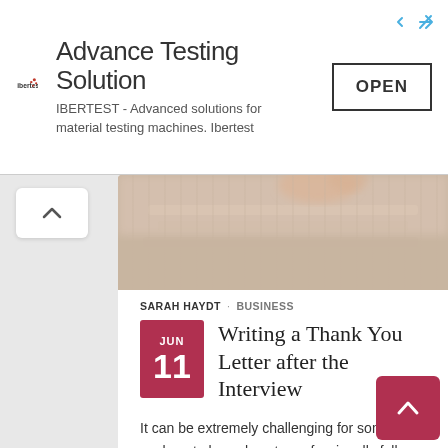[Figure (screenshot): Ad banner for IBERTEST Advanced Testing Solutions with logo, text, and OPEN button]
[Figure (photo): Blurred close-up photo of hands typing on a keyboard]
SARAH HAYDT · BUSINESS
Writing a Thank You Letter after the Interview
It can be extremely challenging for some job seekers to know how to professionally follow-up after a great interview. Following the tips below will help you to craft a gracious thank you note. What is the purpose of a Thank